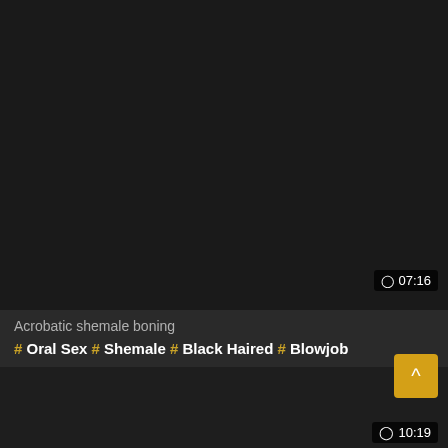[Figure (screenshot): Dark video thumbnail placeholder area]
⊙ 07:16
Acrobatic shemale boning
# Oral Sex # Shemale # Black Haired # Blowjob
⊙ 10:19